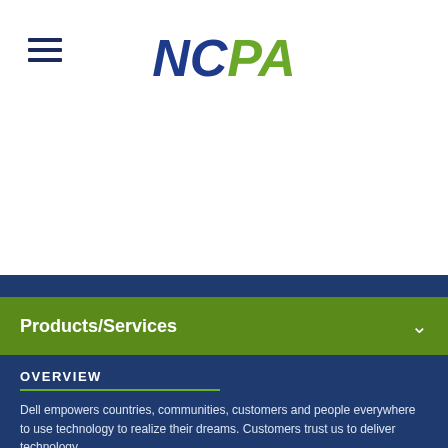NCPA
Products/Services
OVERVIEW
Dell empowers countries, communities, customers and people everywhere to use technology to realize their dreams. Customers trust us to deliver technology